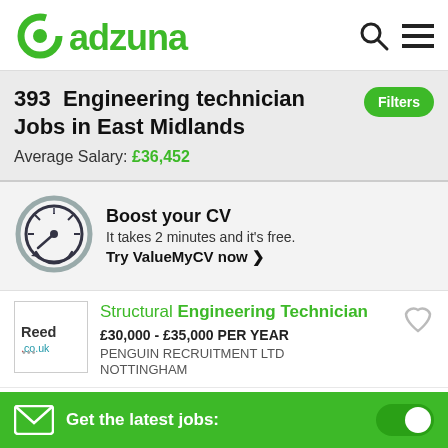adzuna
393 Engineering technician Jobs in East Midlands
Average Salary: £36,452
[Figure (illustration): Speedometer/gauge icon representing CV boost]
Boost your CV
It takes 2 minutes and it's free.
Try ValueMyCV now ❯
[Figure (logo): Reed.co.uk logo]
Structural Engineering Technician
£30,000 - £35,000 PER YEAR
PENGUIN RECRUITMENT LTD
NOTTINGHAM
[Figure (logo): Company logo for second job listing]
Engineering Technician
Get the latest jobs: